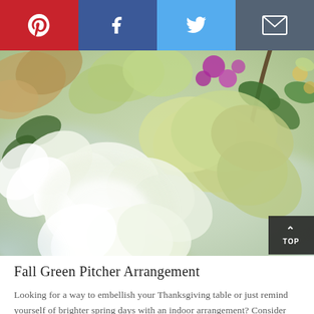[Figure (infographic): Social sharing bar with four buttons: Pinterest (red), Facebook (dark blue), Twitter (light blue), Email/envelope (dark gray)]
[Figure (photo): Close-up photograph of a floral arrangement featuring white and pale yellow-green hydrangea blooms, green leaves, and hints of purple flowers, with a soft blurred background suggesting a white pitcher vase]
Fall Green Pitcher Arrangement
Looking for a way to embellish your Thanksgiving table or just remind yourself of brighter spring days with an indoor arrangement? Consider one of these beautiful